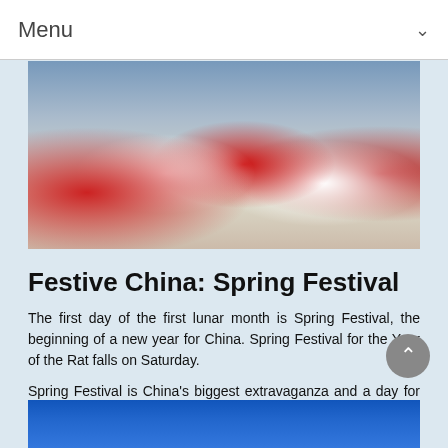Menu
[Figure (photo): Chinese dancers in red and white traditional costumes performing energetically outdoors, with mountains in the background.]
Festive China: Spring Festival
The first day of the first lunar month is Spring Festival, the beginning of a new year for China. Spring Festival for the Year of the Rat falls on Saturday.
Spring Festival is China's biggest extravaganza and a day for family reunion. Being around family members at the turn of the year is a vital ritual for the Chinese people.
Learn More
[Figure (photo): Traditional Chinese pagoda architecture with golden roof decorations against a blue sky, partially visible at the bottom of the page.]